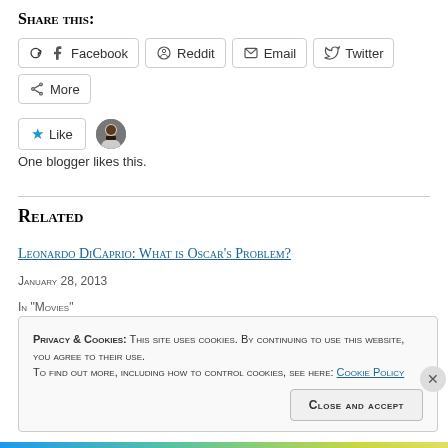Share this:
Facebook  Reddit  Email  Twitter  More
[Figure (other): Like button with blue star icon and a blogger avatar thumbnail]
One blogger likes this.
Related
Leonardo DiCaprio: What is Oscar's Problem?
January 28, 2013
In "Movies"
Privacy & Cookies: This site uses cookies. By continuing to use this website, you agree to their use. To find out more, including how to control cookies, see here: Cookie Policy
Close and accept